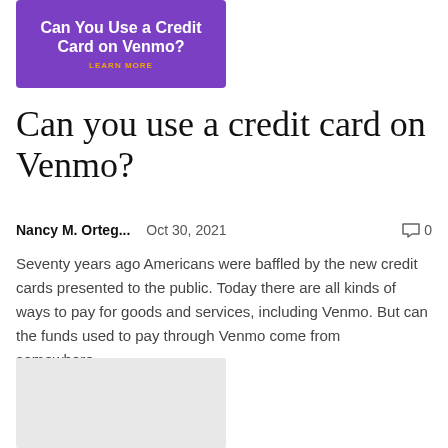[Figure (illustration): Purple banner with white bold text 'Can You Use a Credit Card on Venmo?' and orange text 'LEARN MORE']
Can you use a credit card on Venmo?
Nancy M. Orteg...    Oct 30, 2021    💬 0
Seventy years ago Americans were baffled by the new credit cards presented to the public. Today there are all kinds of ways to pay for goods and services, including Venmo. But can the funds used to pay through Venmo come from somewhere...
[Figure (illustration): Light gray placeholder image box]